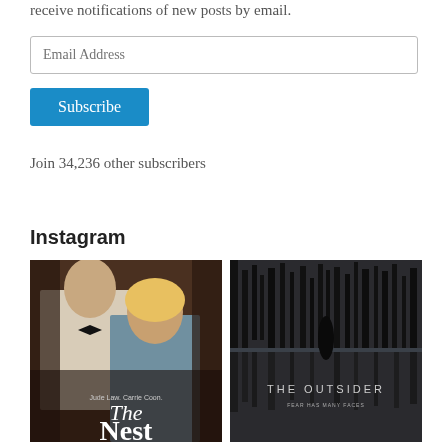receive notifications of new posts by email.
Email Address
Subscribe
Join 34,236 other subscribers
Instagram
[Figure (photo): Movie poster for 'The Nest' featuring a man in a bow tie and a woman, with the title 'The Nest' and actor names Jude Law, Carrie Coon at the bottom.]
[Figure (photo): Dark atmospheric movie/TV poster for 'The Outsider' with dark trees reflected in water and the tagline 'Fear Has Many Faces'.]